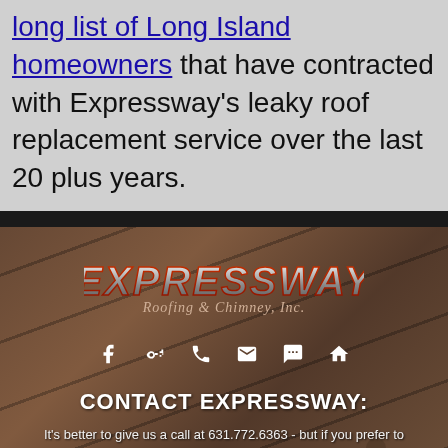long list of Long Island homeowners that have contracted with Expressway's leaky roof replacement service over the last 20 plus years.
[Figure (logo): Expressway Roofing & Chimney, Inc. logo with metallic lettering over a roofing photo background with social media icons (Facebook, Google+, phone, email, chat, home) and CONTACT EXPRESSWAY heading]
It's better to give us a call at 631.772.6363 - but if you prefer to you can email us too :)